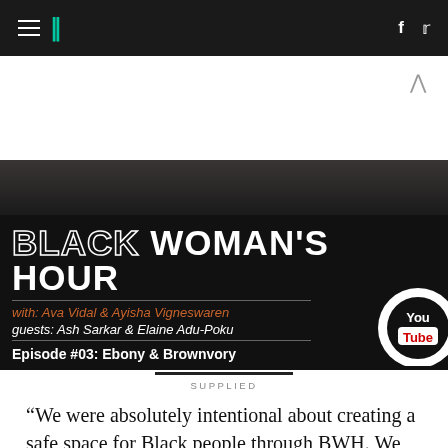HuffPost navigation bar with hamburger menu, logo, Facebook and Twitter icons
[Figure (screenshot): Black Woman's Hour YouTube episode banner with dark background photo of a person, title text 'BLACK WOMAN'S HOUR', with: Ava Vidal & Ayisha Vigneswaren, guests: Ash Sarkar & Elaine Adu-Poku, Episode #03: Ebony & Brownvory, YouTube logo]
SUPPLIED
“We were absolutely intentional about creating a safe space for Black people through BWH. We